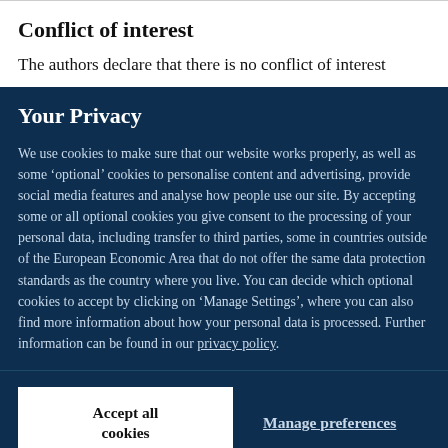Conflict of interest
The authors declare that there is no conflict of interest
Your Privacy
We use cookies to make sure that our website works properly, as well as some ‘optional’ cookies to personalise content and advertising, provide social media features and analyse how people use our site. By accepting some or all optional cookies you give consent to the processing of your personal data, including transfer to third parties, some in countries outside of the European Economic Area that do not offer the same data protection standards as the country where you live. You can decide which optional cookies to accept by clicking on ‘Manage Settings’, where you can also find more information about how your personal data is processed. Further information can be found in our privacy policy.